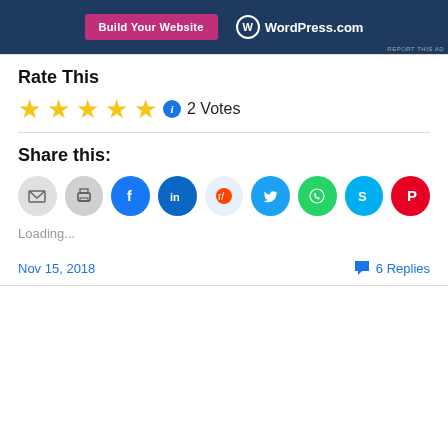[Figure (screenshot): WordPress.com advertisement banner with pink 'Build Your Website' button and WordPress logo on dark blue background]
REPORT THIS AD
Rate This
★★★★★ ℹ 2 Votes
Share this:
[Figure (infographic): Row of social sharing icon buttons: email, print, Facebook, LinkedIn, Reddit, Twitter, WhatsApp, Skype, Pinterest]
Loading...
Nov 15, 2018
6 Replies